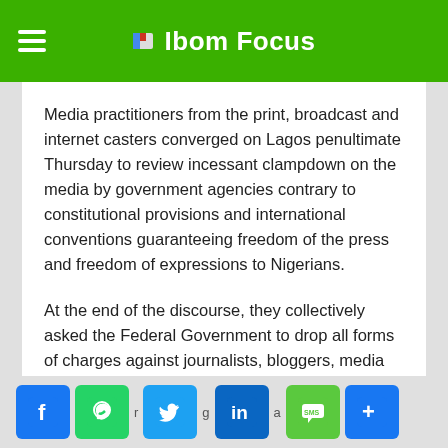Ibom Focus
Media practitioners from the print, broadcast and internet casters converged on Lagos penultimate Thursday to review incessant clampdown on the media by government agencies contrary to constitutional provisions and international conventions guaranteeing freedom of the press and freedom of expressions to Nigerians.
At the end of the discourse, they collectively asked the Federal Government to drop all forms of charges against journalists, bloggers, media houses and cease further arbitrary closures of radio and television stations without court order.
[Figure (other): Social media share buttons: Facebook, WhatsApp, Twitter, LinkedIn, SMS, and a share/more button]